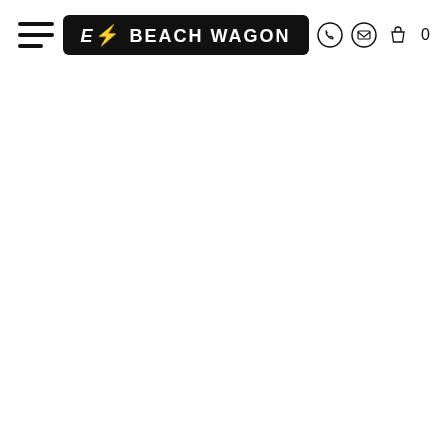e⚡ BEACH WAGON — navigation header with hamburger menu, logo, phone icon, email icon, shopping bag icon, and cart count 0